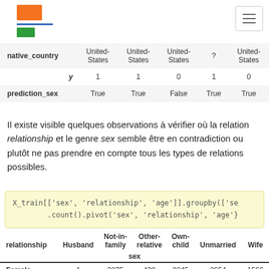[Figure (logo): Orange rectangle logo with blue/green accent bars and hamburger menu button]
| native_country | United-States | United-States | United-States | ? | United-States |
| --- | --- | --- | --- | --- | --- |
| y | 1 | 1 | 0 | 1 | 0 |
| prediction_sex | True | True | False | True | True |
Il existe visible quelques observations à vérifier où la relation relationship et le genre sex semble être en contradiction ou plutôt ne pas prendre en compte tous les types de relations possibles.
X_train[['sex', 'relationship', 'age']].groupby(['se
        .count().pivot('sex', 'relationship', 'age'}
| relationship | Husband | Not-in-family | Other-relative | Own-child | Unmarried | Wife |
| --- | --- | --- | --- | --- | --- | --- |
| sex |  |  |  |  |  |  |
| Female | 1 | 3875 | 430 | 2245 | 2654 | 1566 |
| Male | 13192 | 4430 | 551 | 2823 | 792 | 2 |